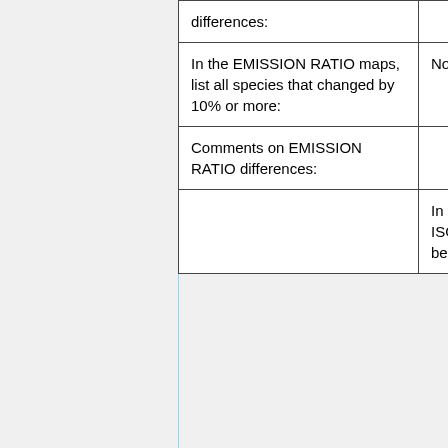| differences: |  |
| In the EMISSION RATIO maps, list all species that changed by 10% or more: | None |
| Comments on EMISSION RATIO differences: |  |
|  | In v9-01-02l, we have adde... numerical noise in ISORRO... the output. This fix was not... previous benchmark v9-01-... benchmark output plots we... |